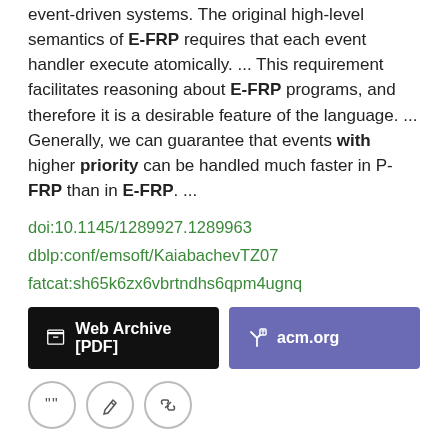event-driven systems. The original high-level semantics of E-FRP requires that each event handler execute atomically.  ...  This requirement facilitates reasoning about E-FRP programs, and therefore it is a desirable feature of the language.  ...  Generally, we can guarantee that events with higher priority can be handled much faster in P-FRP than in E-FRP.  ...
doi:10.1145/1289927.1289963
dblp:conf/emsoft/KaiabachevTZ07
fatcat:sh65k6zx6vbrtndhs6qpm4ugnq
[Figure (other): Web Archive [PDF] and acm.org buttons, plus three icon circles (quote, edit, link)]
Performance evaluation of distributed wavelength assignment in WDM optical networks
Tomohiro Hashiguchi, Xi Wang, Hiroyuki Morikawa, Tomonori Aoyama, S. J. Ben Yoo, Kwok-wai Cheung, Yun-Chur Chung, Guangcheng Li
2004 Network Architectures, Management, and Applications
However, along with many advantages, several major challenges have been posed by the distributed scheme in how the management